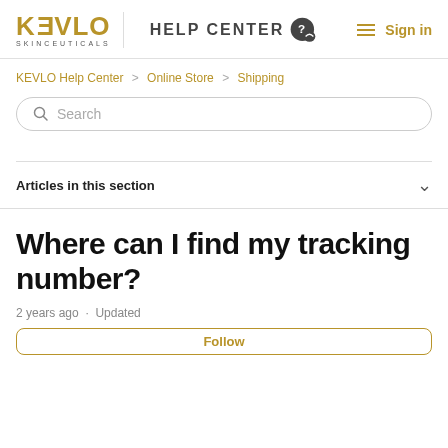KEVLO SKINCEUTICALS HELP CENTER Sign in
KEVLO Help Center > Online Store > Shipping
Search
Articles in this section
Where can I find my tracking number?
2 years ago · Updated
Follow